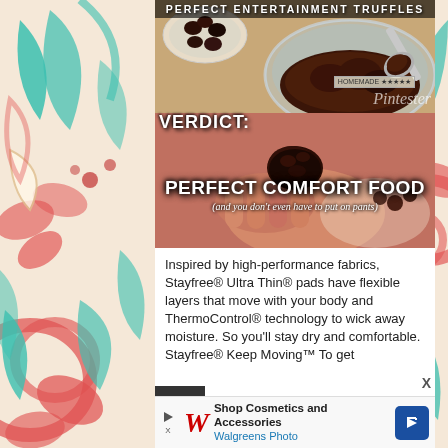[Figure (photo): Decorative floral border on left side with red, teal, and cream swirling floral patterns on beige background]
[Figure (photo): Food blog screenshot showing chocolate truffles being made. Top half shows a glass bowl with chocolate mixture and a scoop. Text overlay: PERFECT ENTERTAINMENT TRUFFLES at top. Bottom half shows a hand holding a chocolate truffle ball. Overlay text: VERDICT: PERFECT COMFORT FOOD (and you don't even have to put on pants). Pintester watermark visible. Homemade badge visible.]
Inspired by high-performance fabrics, Stayfree® Ultra Thin® pads have flexible layers that move with your body and ThermoControl® technology to wick away moisture. So you'll stay dry and comfortable. Stayfree® Keep Moving™ To get
[Figure (photo): Walgreens Photo advertisement banner: Shop Cosmetics and Accessories, Walgreens Photo, with Walgreens W logo and navigation arrow icon]
[Figure (photo): Decorative floral border on right side with teal and red floral patterns on beige background]